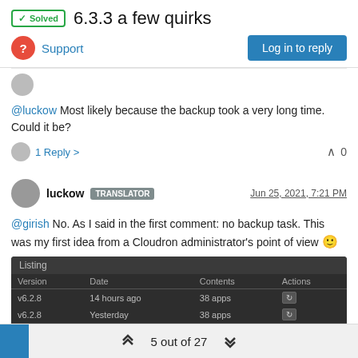✓ Solved  6.3.3 a few quirks
? Support
Log in to reply
@luckow Most likely because the backup took a very long time. Could it be?
1 Reply >  ^ 0
luckow  TRANSLATOR   Jun 25, 2021, 7:21 PM
@girish No. As I said in the first comment: no backup task. This was my first idea from a Cloudron administrator's point of view 🙂
[Figure (screenshot): Screenshot of a dark-themed backup listing table showing Version, Date, Contents, Actions columns with entries v6.2.8 (14 hours ago, 38 apps) and v6.2.8 (Yesterday, 38 apps), plus Create Backup and Backup now buttons]
5 out of 27